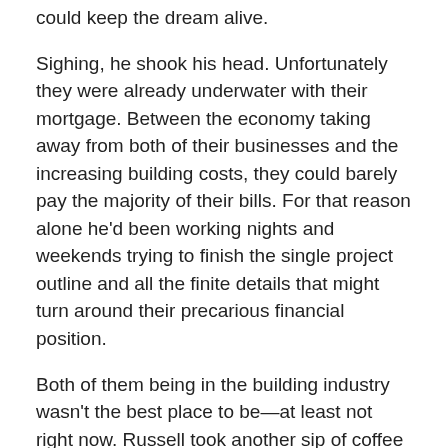could keep the dream alive.
Sighing, he shook his head. Unfortunately they were already underwater with their mortgage. Between the economy taking away from both of their businesses and the increasing building costs, they could barely pay the majority of their bills. For that reason alone he'd been working nights and weekends trying to finish the single project outline and all the finite details that might turn around their precarious financial position.
Both of them being in the building industry wasn't the best place to be—at least not right now. Russell took another sip of coffee and nodded toward the lake as the sounds of birds fluttered in the breeze. No matter, life was good. Good enough anyway.